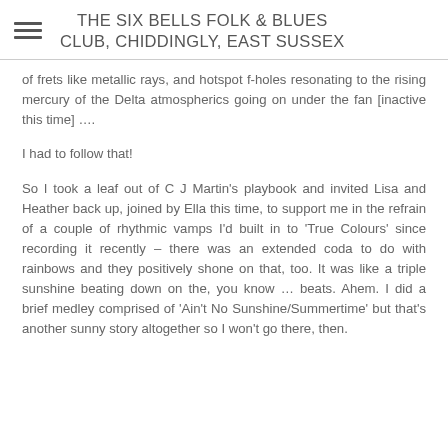THE SIX BELLS FOLK & BLUES CLUB, CHIDDINGLY, EAST SUSSEX
of frets like metallic rays, and hotspot f-holes resonating to the rising mercury of the Delta atmospherics going on under the fan [inactive this time] ….
I had to follow that!
So I took a leaf out of C J Martin's playbook and invited Lisa and Heather back up, joined by Ella this time, to support me in the refrain of a couple of rhythmic vamps I'd built in to 'True Colours' since recording it recently – there was an extended coda to do with rainbows and they positively shone on that, too. It was like a triple sunshine beating down on the, you know … beats. Ahem. I did a brief medley comprised of 'Ain't No Sunshine/Summertime' but that's another sunny story altogether so I won't go there, then.